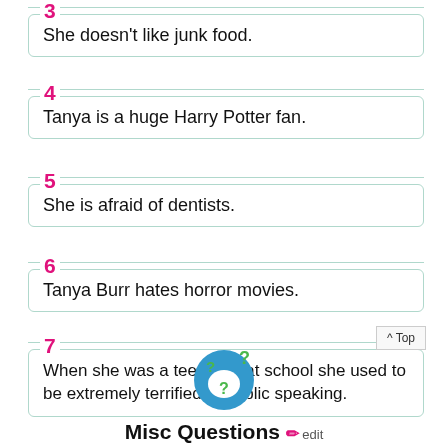3. She doesn't like junk food.
4. Tanya is a huge Harry Potter fan.
5. She is afraid of dentists.
6. Tanya Burr hates horror movies.
7. When she was a teenager at school she used to be extremely terrified of public speaking.
[Figure (illustration): Blue and green question mark icon/ball with green question marks]
Misc Questions